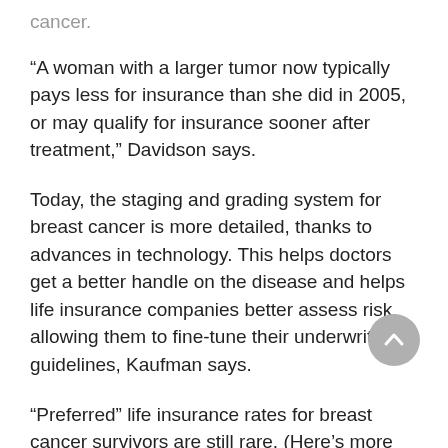cancer.
“A woman with a larger tumor now typically pays less for insurance than she did in 2005, or may qualify for insurance sooner after treatment,” Davidson says.
Today, the staging and grading system for breast cancer is more detailed, thanks to advances in technology. This helps doctors get a better handle on the disease and helps life insurance companies better assess risk, allowing them to fine-tune their underwriting guidelines, Kaufman says.
“Preferred” life insurance rates for breast cancer survivors are still rare. (Here’s more on life insurance classifications and how life insurance rates are determined.) But treatment advances and earlier detection could make “preferred” rates for breast cancer survivors more common, Davidson says.
Underwriting guidelines will continue to evolve